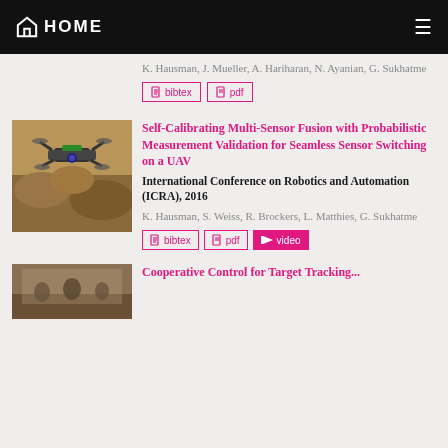HOME
K. Hausman, J. Mueller, A. Hariharan, N. Ayanian, G. Sukhatme
bibtex | pdf
Self-Calibrating Multi-Sensor Fusion with Probabilistic Measurement Validation for Seamless Sensor Switching on a UAV
International Conference on Robotics and Automation (ICRA), 2016
K. Hausman, S. Weiss, R. Brockers, L. Matthies, G. Sukhatme
bibtex | pdf | video
Cooperative Control for Target Tracking...